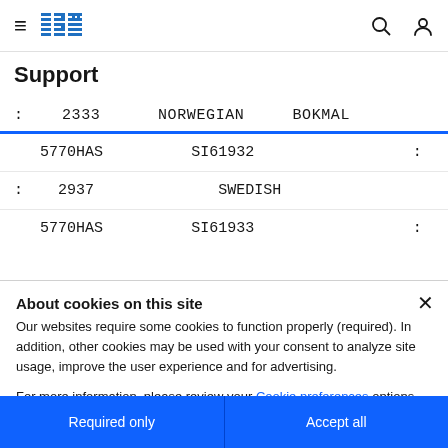IBM navigation bar with hamburger menu, IBM logo, search and user icons
Support
| : | 2333 | NORWEGIAN | BOKMAL |
|  | 5770HAS | SI61932 | : |
| : | 2937 | SWEDISH |  |
|  | 5770HAS | SI61933 | : |
About cookies on this site
Our websites require some cookies to function properly (required). In addition, other cookies may be used with your consent to analyze site usage, improve the user experience and for advertising.
For more information, please review your Cookie preferences options and IBM's privacy statement.
Required only
Accept all